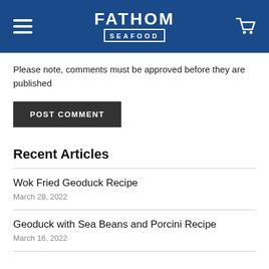FATHOM SEAFOOD
Please note, comments must be approved before they are published
POST COMMENT
Recent Articles
Wok Fried Geoduck Recipe
March 28, 2022
Geoduck with Sea Beans and Porcini Recipe
March 16, 2022